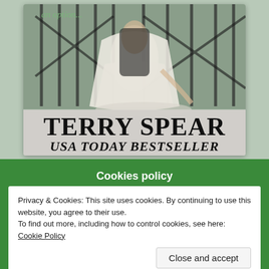[Figure (illustration): Book cover showing a woman in a white wedding dress near black iron railings, with text 'TERRY SPEAR USA TODAY BESTSELLER' at the bottom of the cover. The cover has a light gray/sage background. Partial green italic text visible at top.]
Cookies policy
Privacy & Cookies: This site uses cookies. By continuing to use this website, you agree to their use.
To find out more, including how to control cookies, see here: Cookie Policy
Close and accept